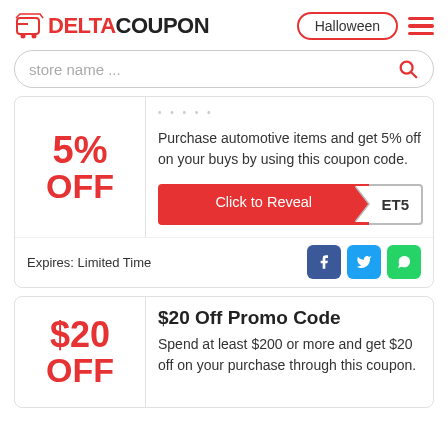DELTACOUPON — Halloween
store name ...
5% OFF — Purchase automotive items and get 5% off on your buys by using this coupon code. Click to Reveal ET5
Expires: Limited Time
$20 Off Promo Code
Spend at least $200 or more and get $20 off on your purchase through this coupon.